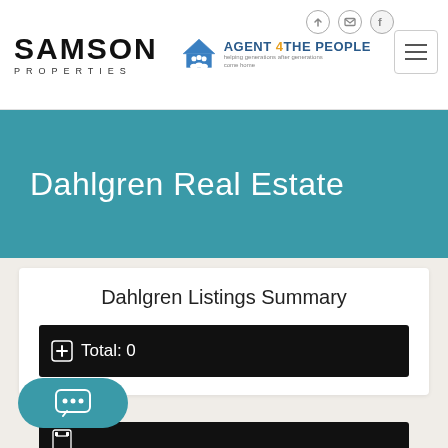[Figure (logo): Samson Properties logo with 'SAMSON' in large bold text and 'PROPERTIES' in spaced small caps below]
[Figure (logo): Agent 4 The People logo with house/people icon and blue text]
Dahlgren Real Estate
Dahlgren Listings Summary
Total: 0